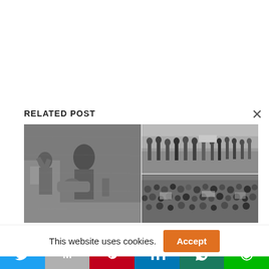RELATED POST
[Figure (photo): Black and white historical photo collage: left side shows a person carrying an injured/limp person while another person stands nearby with raised hands; right top shows a crowd of people marching/walking in a street; right bottom shows a large crowd gathered.]
This website uses cookies.
[Figure (infographic): Social share bar with Twitter, Gmail/M, Pinterest, LinkedIn, WhatsApp, and LINE buttons]